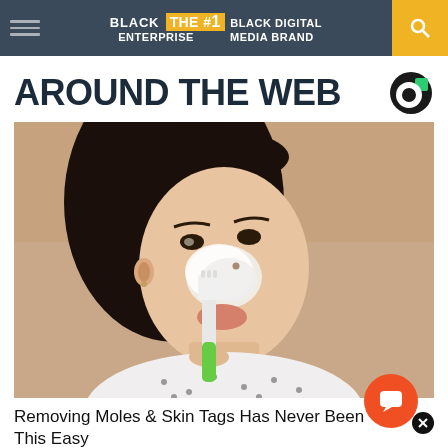BLACK ENTERPRISE THE #1 BLACK DIGITAL MEDIA BRAND
AROUND THE WEB
[Figure (photo): Woman applying white cream/paste to her nose area using a green toothbrush, looking upward, wearing a patterned white shirt, bathroom setting]
Removing Moles & Skin Tags Has Never Been This Easy